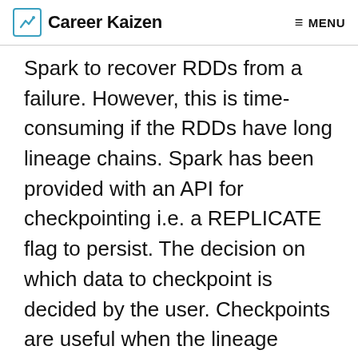Career Kaizen — MENU
Spark to recover RDDs from a failure. However, this is time-consuming if the RDDs have long lineage chains. Spark has been provided with an API for checkpointing i.e. a REPLICATE flag to persist. The decision on which data to checkpoint is decided by the user. Checkpoints are useful when the lineage graphs are long and have wide dependencies.